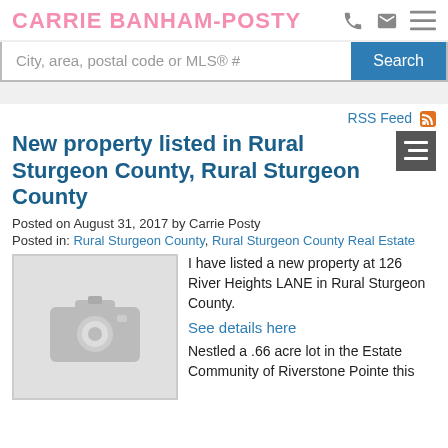CARRIE BANHAM-POSTY
City, area, postal code or MLS® #
Search
RSS Feed
New property listed in Rural Sturgeon County, Rural Sturgeon County
Posted on August 31, 2017 by Carrie Posty
Posted in: Rural Sturgeon County, Rural Sturgeon County Real Estate
[Figure (photo): Placeholder image with a camera icon on grey background]
I have listed a new property at 126 River Heights LANE in Rural Sturgeon County.
See details here
Nestled a .66 acre lot in the Estate Community of Riverstone Pointe this